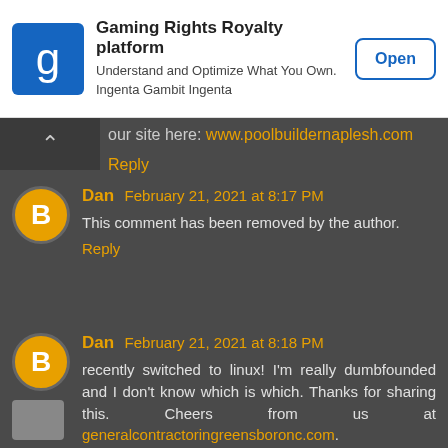[Figure (screenshot): Ad banner for Gaming Rights Royalty platform with blue icon showing letter g, title text, subtitle, and Open button]
our site here: www.poolbuildernaplesh.com
Reply
Dan February 21, 2021 at 8:17 PM
This comment has been removed by the author.
Reply
Dan February 21, 2021 at 8:18 PM
recently switched to linux! I'm really dumbfounded and I don't know which is which. Thanks for sharing this. Cheers from us at generalcontractoringreensboronc.com.
Reply